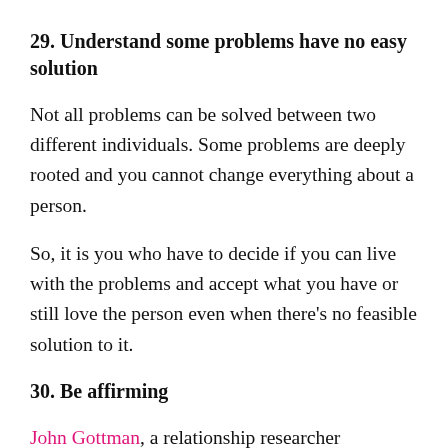29. Understand some problems have no easy solution
Not all problems can be solved between two different individuals. Some problems are deeply rooted and you cannot change everything about a person.
So, it is you who have to decide if you can live with the problems and accept what you have or still love the person even when there's no feasible solution to it.
30. Be affirming
John Gottman, a relationship researcher